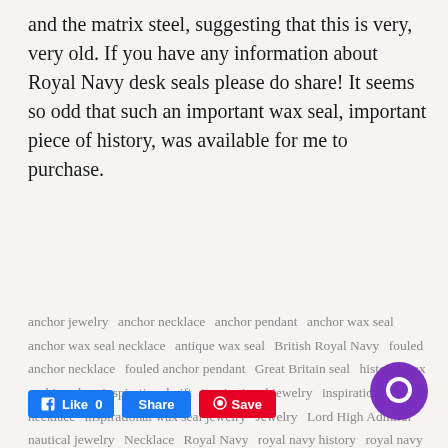and the matrix steel, suggesting that this is very, very old. If you have any information about Royal Navy desk seals please do share!  It seems so odd that such an important wax seal, important piece of history, was available for me to purchase.
anchor jewelry  anchor necklace  anchor pendant  anchor wax seal  anchor wax seal necklace  antique wax seal  British Royal Navy  fouled anchor necklace  fouled anchor pendant  Great Britain seal  historic wax seal jewelry  inspirational gift  inspirational jewelry  inspirational necklace  inspirational wax seal jewelry  Jewelry  Lord High Admiral  nautical jewelry  Necklace  Royal Navy  royal navy history  royal navy jewlery  silver anchor jewelry  symbol of hope  wax seal jewelry  wax seal necklace
[Figure (other): Social sharing buttons: Facebook Like 0, Share, Pinterest Save, and a purple chat bubble icon in the bottom right]